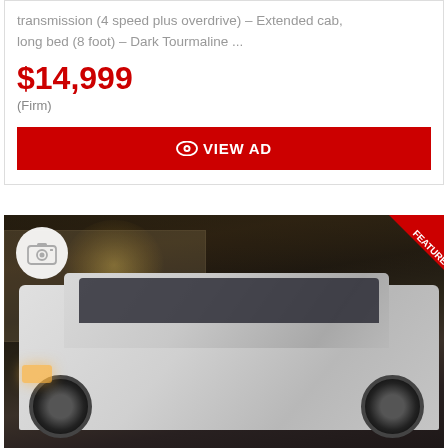transmission (4 speed plus overdrive) – Extended cab, long bed (8 foot) – Dark Tourmaline ...
$14,999
(Firm)
VIEW AD
[Figure (photo): Night-time photo of a white pickup truck (extended cab, long bed) parked in a lot, with a 'FEATURED' ribbon badge in the top-right corner and a camera icon circle in the top-left corner.]